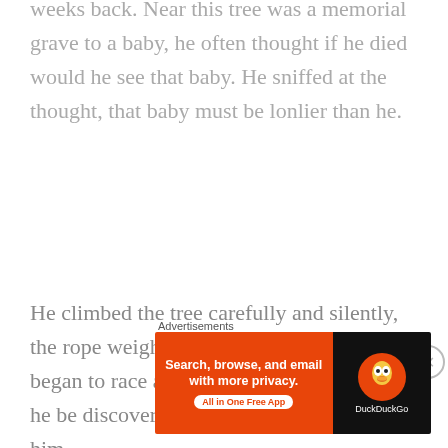weeks back. Near this tree was a memorial grave to a baby, he often thought if he died would he see that baby. He sniffed at the thought, that baby must be lonlier than he.
He climbed the tree carefully and silently, the rope weighing him down, his thoughts began to race and he wondered when would he be discovered. It didnt matter. Not to him.
He thought of how useless he was to everyone and everything, how the world turned its
Advertisements
[Figure (other): DuckDuckGo advertisement banner: orange left panel with text 'Search, browse, and email with more privacy. All in One Free App' and dark right panel with DuckDuckGo duck logo and brand name.]